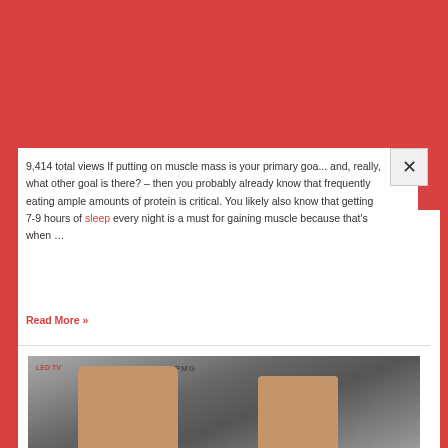9,414 total views If putting on muscle mass is your primary goal... and, really, what other goal is there? – then you probably already know that frequently eating ample amounts of protein is critical. You likely also know that getting 7-9 hours of sleep every night is a must for gaining muscle because that's when …
Read More »
[Figure (photo): Two male boxers or fighters photographed at a press event, with sponsor banners including KPMG and LED TV visible in the background]